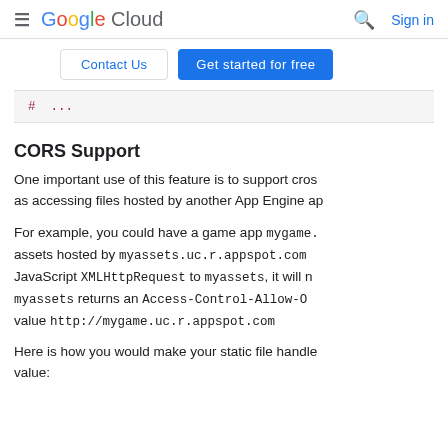≡ Google Cloud  🔍  Sign in
Contact Us   Get started for free
# ...
CORS Support
One important use of this feature is to support cros... as accessing files hosted by another App Engine ap...
For example, you could have a game app mygame. assets hosted by myassets.uc.r.appspot.com JavaScript XMLHttpRequest to myassets, it will n myassets returns an Access-Control-Allow-O value http://mygame.uc.r.appspot.com
Here is how you would make your static file handle value: